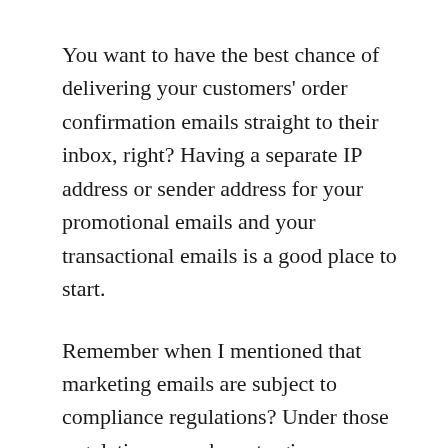You want to have the best chance of delivering your customers' order confirmation emails straight to their inbox, right? Having a separate IP address or sender address for your promotional emails and your transactional emails is a good place to start.
Remember when I mentioned that marketing emails are subject to compliance regulations? Under those regulations, you have to give consumers the option to unsubscribe from your marketing emails.